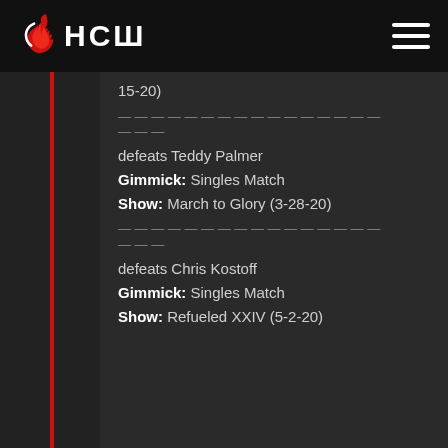[Figure (logo): HCW logo with flame icon and hamburger menu on black header bar]
15-20)
— — — — — — — — — — — — — — — — — —
defeats Teddy Palmer
Gimmick: Singles Match
Show: March to Glory (3-28-20)
— — — — — — — — — — — — — — — — — —
defeats Chris Kostoff
Gimmick: Singles Match
Show: Refueled XXIV (5-2-20)